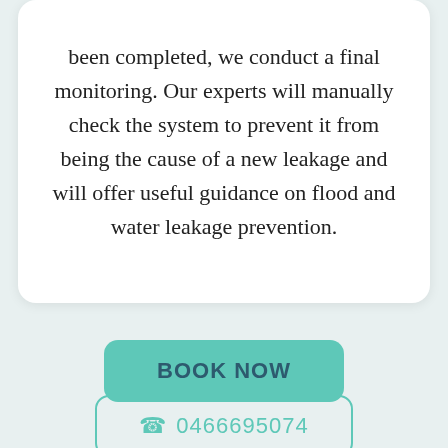been completed, we conduct a final monitoring. Our experts will manually check the system to prevent it from being the cause of a new leakage and will offer useful guidance on flood and water leakage prevention.
BOOK NOW
0466695074